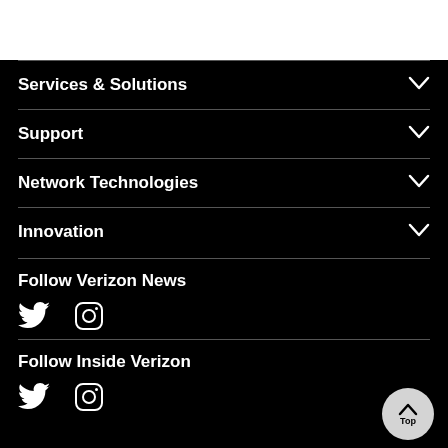Services & Solutions
Support
Network Technologies
Innovation
Follow Verizon News
[Figure (illustration): Twitter and Instagram social media icons (white on black)]
Follow Inside Verizon
[Figure (illustration): Twitter and Instagram social media icons (white on black) and Back to Top circular button]